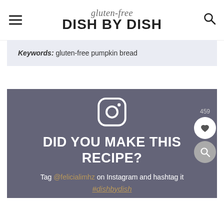gluten-free DISH BY DISH
Keywords: gluten-free pumpkin bread
[Figure (infographic): Instagram call-to-action block with Instagram logo icon, heading 'DID YOU MAKE THIS RECIPE?', tag instruction and hashtag on a slate/purple background]
DID YOU MAKE THIS RECIPE?
Tag @felicialimhz on Instagram and hashtag it #dishbydish